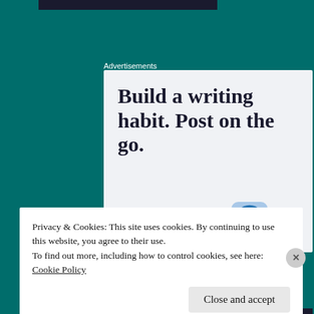Advertisements
[Figure (screenshot): WordPress advertisement: 'Build a writing habit. Post on the go.' with GET THE APP button and WordPress logo]
Privacy & Cookies: This site uses cookies. By continuing to use this website, you agree to their use.
To find out more, including how to control cookies, see here: Cookie Policy
Close and accept